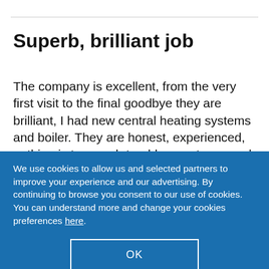Superb, brilliant job
The company is excellent, from the very first visit to the final goodbye they are brilliant, I had new central heating systems and boiler. They are honest, experienced, nothing is too much trouble, courteous and hard working and
We use cookies to allow us and selected partners to improve your experience and our advertising. By continuing to browse you consent to our use of cookies. You can understand more and change your cookies preferences here.